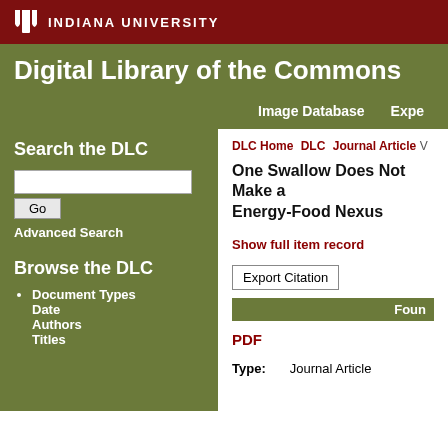INDIANA UNIVERSITY
Digital Library of the Commons
Image Database | Expo
DLC Home  DLC  Journal Article  V
Search the DLC
Go
Advanced Search
Browse the DLC
Document Types
Date
Authors
Titles
One Swallow Does Not Make a Energy-Food Nexus
Show full item record
Export Citation
Foun
PDF
Type:  Journal Article